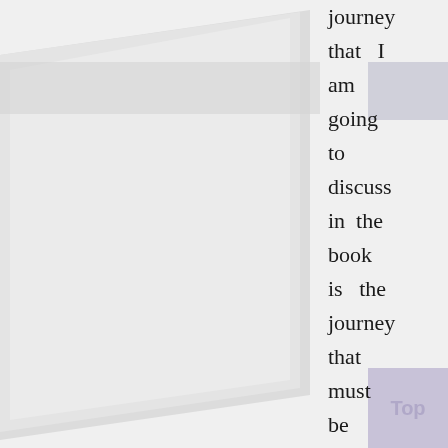[Figure (illustration): Large light gray skewed/angled rectangular image area covering the left two-thirds of the page, with layered sheets effect. A small light lavender box appears at top right. A purple/lavender 'Top' button box appears at bottom right.]
journey that I am going to discuss in the book is the journey that must be free